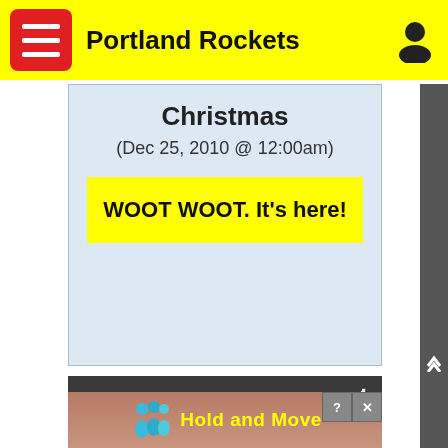Portland Rockets
Christmas
(Dec 25, 2010 @ 12:00am)
WOOT WOOT. It's here!
Attendance
Number of visits to the site:
[Figure (other): Advertisement banner showing 'Hold and Move' with cartoon people figures and a close button]